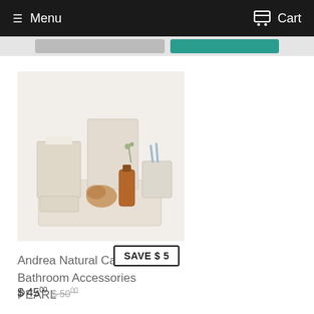Menu   Cart
[Figure (photo): A set of Andrea Natural Capiz Shell bathroom accessories in pearl finish, including a tissue box holder, wastebasket, tray, soap dish, and tumbler cup, displayed against a white background with a small amber bottle and coral piece.]
Andrea Natural Capiz Shell Bathroom Accessories PEARL
SAVE $ 5
$ 4500  $ 5000